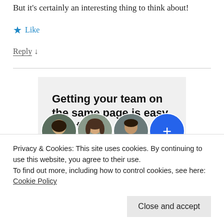But it's certainly an interesting thing to think about!
★ Like
Reply ↓
[Figure (infographic): Advertisement banner with text 'Getting your team on the same page is easy. And free.' and partial avatars of team members at the bottom including three person photos and a blue plus circle.]
Privacy & Cookies: This site uses cookies. By continuing to use this website, you agree to their use.
To find out more, including how to control cookies, see here: Cookie Policy